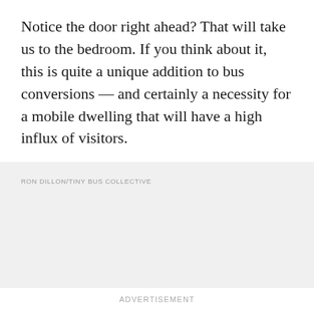Notice the door right ahead? That will take us to the bedroom. If you think about it, this is quite a unique addition to bus conversions — and certainly a necessity for a mobile dwelling that will have a high influx of visitors.
[Figure (photo): Gray placeholder image area with photo credit reading RON DILLON/TINY BUS COLLECTIVE]
RON DILLON/TINY BUS COLLECTIVE
ADVERTISEMENT
The bedroom consists of four bunk beds, each fitted with curtains to ensure all members of the collective have a bit of privacy.